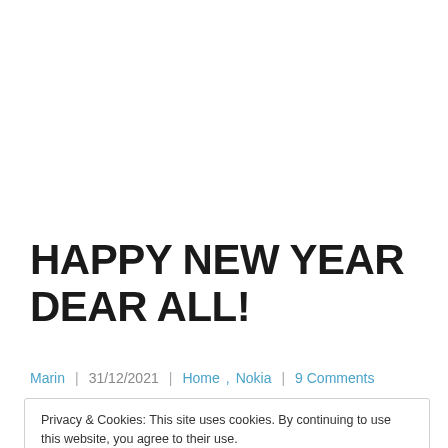HAPPY NEW YEAR DEAR ALL!
Marin | 31/12/2021 | Home, Nokia | 9 Comments
Privacy & Cookies: This site uses cookies. By continuing to use this website, you agree to their use.
To find out more, including how to control cookies, see here: Cookie Policy
Close and accept